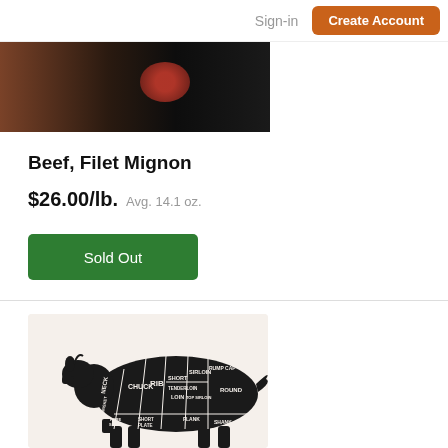Sign-in  Create Account
[Figure (photo): Partial view of raw beef filet mignon on a dark surface]
Beef, Filet Mignon
$26.00/lb.  Avg. 14.1 oz.
Sold Out
[Figure (illustration): Beef cuts diagram showing a cow silhouette with labeled sections: NECK, CHUCK, RIB, SHORT, SIRLOIN, RUMP CAP, TENDERLOIN, LOIN, TOP SIRLOIN, ROUND, FORE SHANK, SHORT PLATE, FLANK, SHANK]